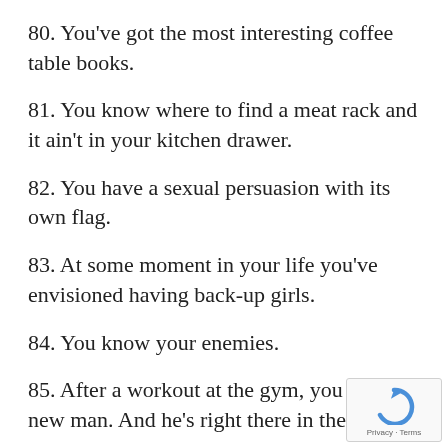80. You've got the most interesting coffee table books.
81. You know where to find a meat rack and it ain't in your kitchen drawer.
82. You have a sexual persuasion with its own flag.
83. At some moment in your life you've envisioned having back-up girls.
84. You know your enemies.
85. After a workout at the gym, you feel like a new man. And he's right there in the show